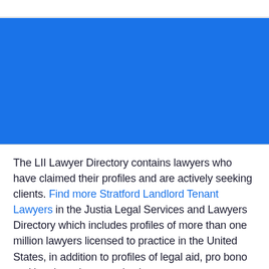[Figure (other): Blue banner/hero image area — solid blue rectangle]
The LII Lawyer Directory contains lawyers who have claimed their profiles and are actively seeking clients. Find more Stratford Landlord Tenant Lawyers in the Justia Legal Services and Lawyers Directory which includes profiles of more than one million lawyers licensed to practice in the United States, in addition to profiles of legal aid, pro bono and legal service organizations.